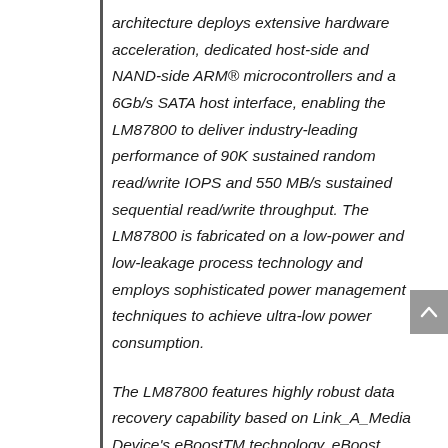architecture deploys extensive hardware acceleration, dedicated host-side and NAND-side ARM® microcontrollers and a 6Gb/s SATA host interface, enabling the LM87800 to deliver industry-leading performance of 90K sustained random read/write IOPS and 550 MB/s sustained sequential read/write throughput. The LM87800 is fabricated on a low-power and low-leakage process technology and employs sophisticated power management techniques to achieve ultra-low power consumption.
The LM87800 features highly robust data recovery capability based on Link_A_Media Device's eBoostTM technology. eBoost significantly enhances the endurance of a...